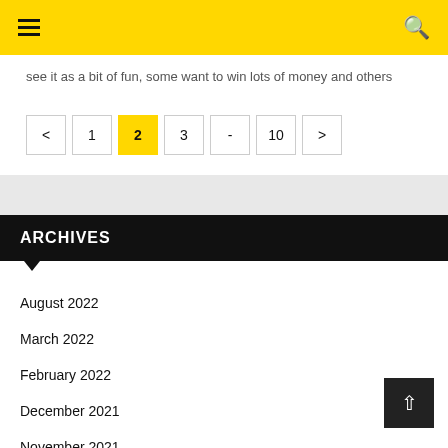Navigation bar with hamburger menu and search icon
see it as a bit of fun, some want to win lots of money and others
Pagination: < 1 2 3 - 10 >
ARCHIVES
August 2022
March 2022
February 2022
December 2021
November 2021